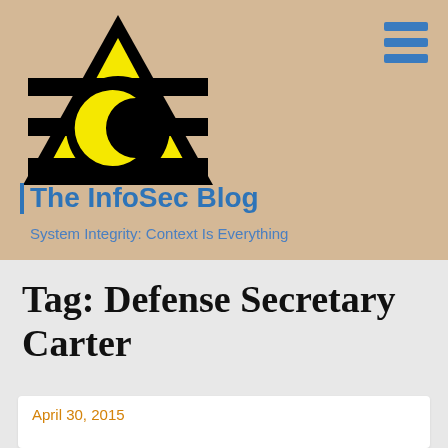[Figure (logo): The InfoSec Blog logo: a black triangle with yellow inner triangle and a black circle with a yellow crescent shape, crossed by three horizontal black bars]
The InfoSec Blog
System Integrity: Context Is Everything
Tag: Defense Secretary Carter
April 30, 2015